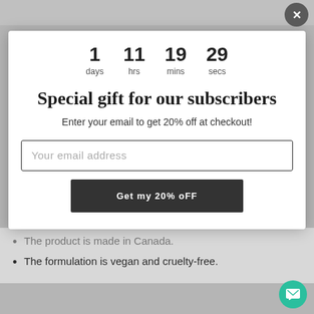1 days  11 hrs  19 mins  29 secs
Special gift for our subscribers
Enter your email to get 20% off at checkout!
Your email address
Get my 20% oFF
The product is made in Canada.
The formulation is vegan and cruelty-free.